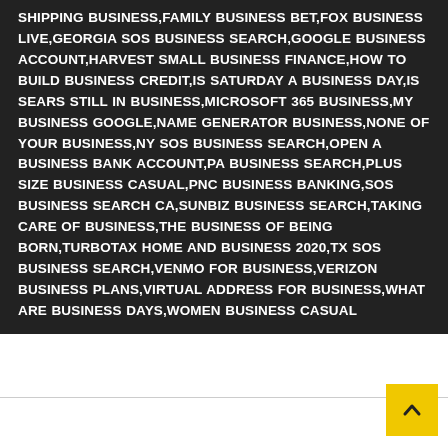SHIPPING BUSINESS,FAMILY BUSINESS BET,FOX BUSINESS LIVE,GEORGIA SOS BUSINESS SEARCH,GOOGLE BUSINESS ACCOUNT,HARVEST SMALL BUSINESS FINANCE,HOW TO BUILD BUSINESS CREDIT,IS SATURDAY A BUSINESS DAY,IS SEARS STILL IN BUSINESS,MICROSOFT 365 BUSINESS,MY BUSINESS GOOGLE,NAME GENERATOR BUSINESS,NONE OF YOUR BUSINESS,NY SOS BUSINESS SEARCH,OPEN A BUSINESS BANK ACCOUNT,PA BUSINESS SEARCH,PLUS SIZE BUSINESS CASUAL,PNC BUSINESS BANKING,SOS BUSINESS SEARCH CA,SUNBIZ BUSINESS SEARCH,TAKING CARE OF BUSINESS,THE BUSINESS OF BEING BORN,TURBOTAX HOME AND BUSINESS 2020,TX SOS BUSINESS SEARCH,VENMO FOR BUSINESS,VERIZON BUSINESS PLANS,VIRTUAL ADDRESS FOR BUSINESS,WHAT ARE BUSINESS DAYS,WOMEN BUSINESS CASUAL